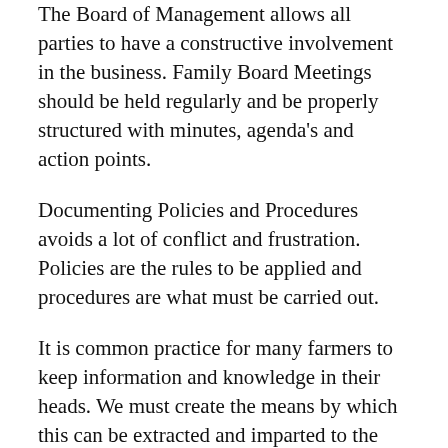The Board of Management allows all parties to have a constructive involvement in the business. Family Board Meetings should be held regularly and be properly structured with minutes, agenda's and action points.
Documenting Policies and Procedures avoids a lot of conflict and frustration. Policies are the rules to be applied and procedures are what must be carried out.
It is common practice for many farmers to keep information and knowledge in their heads. We must create the means by which this can be extracted and imparted to the next generation.
Open communication within a predetermined set of guidelines creates both a healthy business and a healthy family life. It also promotes family unity